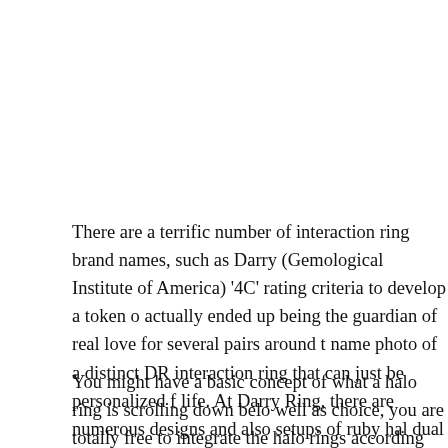There are a terrific number of interaction ring brand names, such as Darry (Gemological Institute of America) '4C' rating criteria to develop a token of actually ended up being the guardian of real love for several pairs around t name photo of a distinct DR interaction ring that can just be personalized f life. At Darry Ring, there are numerous designs and also setups of ruby hal dual halo round interaction rings, dual halo heart interaction rings, and so c your special DR halo involvement ring to fit your private demands.
You might have a basic concept of what a halo ring is scrolling down belo well as choice, you are totally free to integrate the halo rings according DR setups as well as designs to obtain your very own distinct halo interaction r